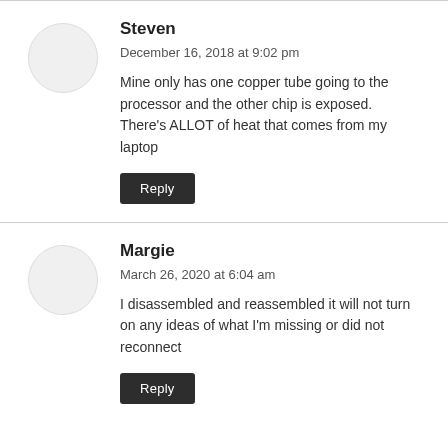Steven
December 16, 2018 at 9:02 pm
Mine only has one copper tube going to the processor and the other chip is exposed. There’s ALLOT of heat that comes from my laptop
Reply
Margie
March 26, 2020 at 6:04 am
I disassembled and reassembled it will not turn on any ideas of what I’m missing or did not reconnect
Reply